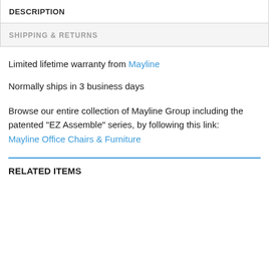DESCRIPTION
SHIPPING & RETURNS
Limited lifetime warranty from Mayline
Normally ships in 3 business days
Browse our entire collection of Mayline Group including the patented "EZ Assemble" series, by following this link: Mayline Office Chairs & Furniture
RELATED ITEMS